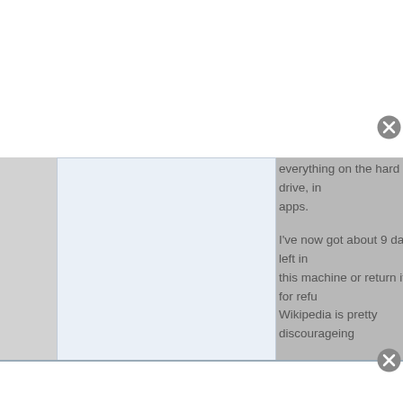everything on the hard drive, in apps.
I've now got about 9 days left in this machine or return it for refu... Wikipedia is pretty discouraging...